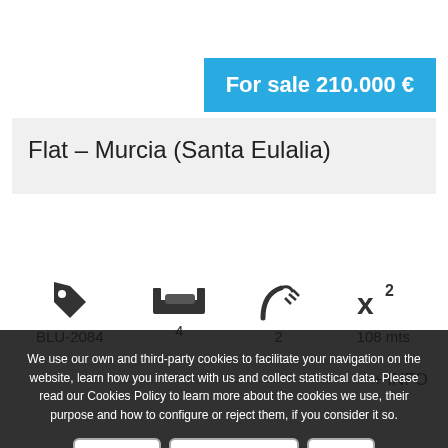For sale 210.000 €
Flat - Murcia (Santa Eulalia)
[Figure (infographic): Property icons row: tag icon with label BLU-2084, bed icon with label 4, shower icon with label 2, area icon with label 108 mts]
+ INFO
We use our own and third-party cookies to facilitate your navigation on the website, learn how you interact with us and collect statistical data. Please read our Cookies Policy to learn more about the cookies we use, their purpose and how to configure or reject them, if you consider it so.
Accept all
Manage Cookies
Reject